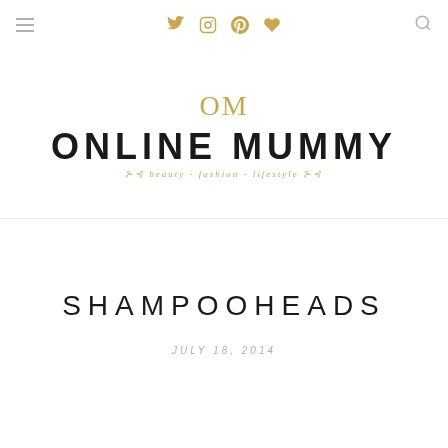Online Mummy - beauty - fashion - lifestyle
[Figure (logo): Online Mummy blog logo with gold OM monogram, bold black ONLINE MUMMY wordmark, and gold italic tagline 'beauty - fashion - lifestyle']
SHAMPOOHEADS
JULY 18, 2014